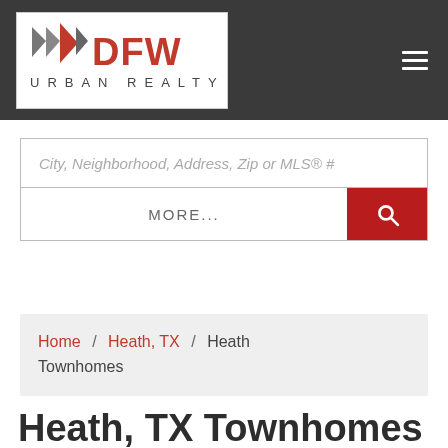[Figure (logo): DFW Urban Realty logo with red and grey flag/pennant icons and text 'DFW URBAN REALTY']
City, Neighborhood, Address, Zip or MLS® #
MORE...
Home / Heath, TX / Heath Townhomes
Heath, TX Townhomes